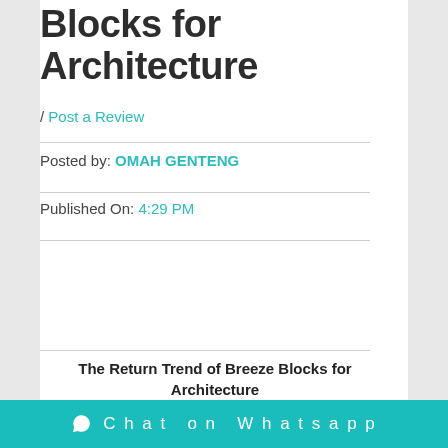Blocks for Architecture
/ Post a Review
Posted by: OMAH GENTENG
Published On: 4:29 PM
The Return Trend of Breeze Blocks for Architecture
Breeze Blocks are now used by so many people for interior and exterior needs. The development of technology
Chat on Whatsapp